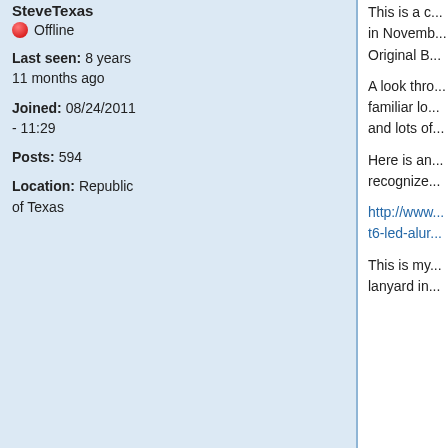SteveTexas
Offline
Last seen: 8 years 11 months ago
Joined: 08/24/2011 - 11:29
Posts: 594
Location: Republic of Texas
This is a c... in Novemb... Original B...

A look thro... familiar lo... and lots of...

Here is an... recognize...

http://www... t6-led-alur...

This is my... lanyard in...
[Figure (screenshot): Top button with upward arrow icon and label 'Top']
Please read our cookie and privacy policy.

By continuing to use this site you are agreeing to our cookie and privacy policy. No, give me more info

OK, I agree